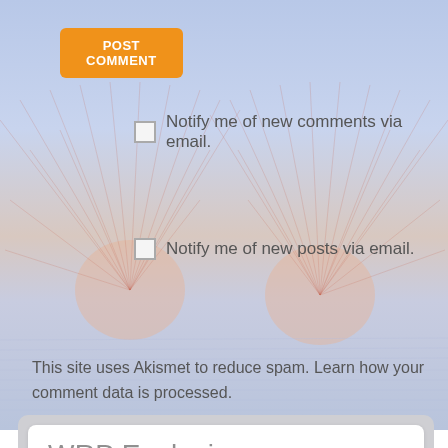POST COMMENT
Notify me of new comments via email.
Notify me of new posts via email.
This site uses Akismet to reduce spam. Learn how your comment data is processed.
WRP Explosion
[Figure (photo): Book cover with red background showing 'WRP Explosion' text and Karl Marx reference]